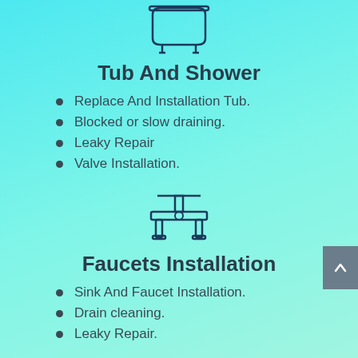[Figure (illustration): Outline icon of a bathtub with legs, drawn in dark teal/navy lines on cyan background]
Tub And Shower
Replace And Installation Tub.
Blocked or slow draining.
Leaky Repair
Valve Installation.
[Figure (illustration): Outline icon of plumbing pipes/faucet system with horizontal pipe and vertical connections, drawn in dark teal/navy lines]
Faucets Installation
Sink And Faucet Installation.
Drain cleaning.
Leaky Repair.